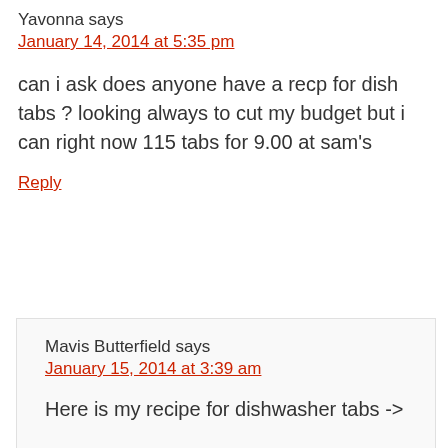Yavonna says
January 14, 2014 at 5:35 pm
can i ask does anyone have a recp for dish tabs ? looking always to cut my budget but i can right now 115 tabs for 9.00 at sam's
Reply
Mavis Butterfield says
January 15, 2014 at 3:39 am
Here is my recipe for dishwasher tabs ->
http://www.onehundreddollarsamonth.co